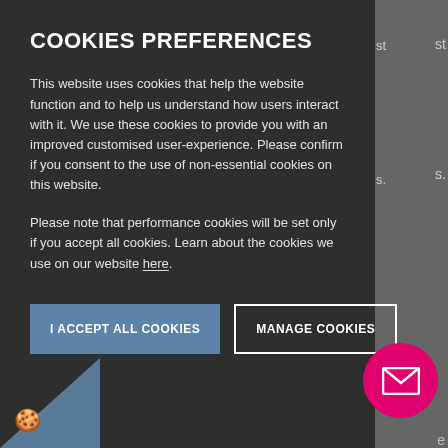COOKIES PREFERENCES
This website uses cookies that help the website function and to help us understand how users interact with it. We use these cookies to provide you with an improved customised user-experience. Please confirm if you consent to the use of non-essential cookies on this website.
Please note that performance cookies will be set only if you accept all cookies. Learn about the cookies we use on our website here.
[Figure (other): Two buttons: 'I ACCEPT ALL COOKIES' (blue/grey filled) and 'MANAGE COOKIES' (outlined)]
[Figure (other): Magenta circle button with envelope/email icon in bottom-right corner]
[Figure (other): Blue triangle in bottom-left corner with cookie emoji icon]